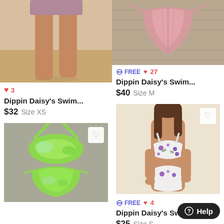[Figure (photo): Cropped photo of a person standing on a beach, showing legs and lower body in a swimsuit]
♥ 3
Dippin Daisy's Swim...
$32  Size XS
[Figure (photo): Neon green tie-dye two-piece bikini laid flat on gray carpet with heart favorite button]
[Figure (photo): Pink bikini bottom laid flat on wicker surface]
≡⊕ FREE  ♥ 27
Dippin Daisy's Swim...
$40  Size M
[Figure (photo): Model wearing a floral white and purple bikini set, with heart favorite button]
≡⊕ FREE  ♥ 4
Dippin Daisy's Swim...
$25  Size S
⊙ Help